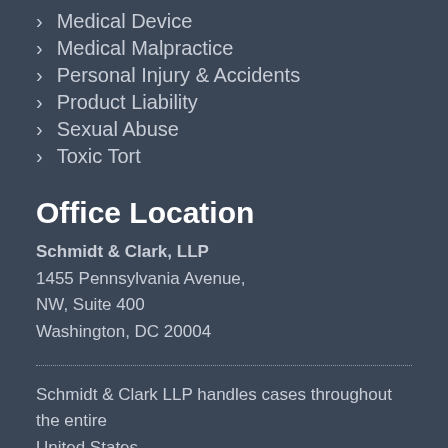Medical Device
Medical Malpractice
Personal Injury & Accidents
Product Liability
Sexual Abuse
Toxic Tort
Office Location
Schmidt & Clark, LLP
1455 Pennsylvania Avenue,
NW, Suite 400
Washington, DC 20004
Schmidt & Clark LLP handles cases throughout the entire United States.